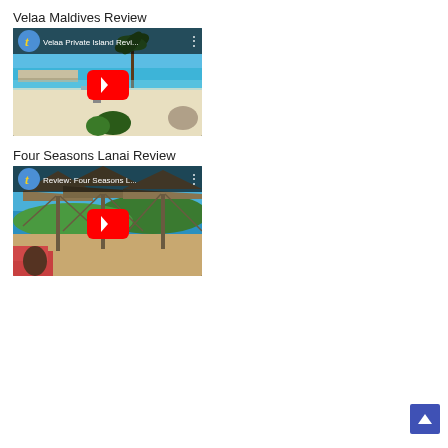Velaa Maldives Review
[Figure (screenshot): YouTube video thumbnail for 'Velaa Private Island Revi...' showing a Maldives overwater bungalow scene with turquoise water, sandy beach and palm trees. Has a YouTube play button overlay and channel icon.]
Four Seasons Lanai Review
[Figure (screenshot): YouTube video thumbnail for 'Review: Four Seasons L...' showing a tropical resort scene with large umbrellas/palapas in the foreground and ocean and hills in the background. Has a YouTube play button overlay and channel icon.]